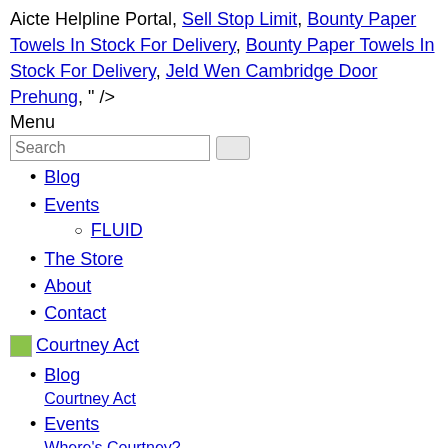Aicte Helpline Portal, Sell Stop Limit, Bounty Paper Towels In Stock For Delivery, Bounty Paper Towels In Stock For Delivery, Jeld Wen Cambridge Door Prehung, " />
Menu
Blog
Events
FLUID
The Store
About
Contact
[Figure (logo): Courtney Act logo image with text link]
Blog
Courtney Act
Events
Where's Courtney?
FLUID
The Store
Shop Courtney!
About
who is she?
Contact